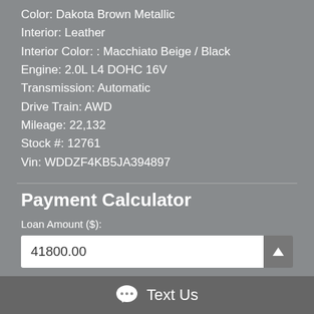Color: Dakota Brown Metallic
Interior: Leather
Interior Color: : Macchiato Beige / Black
Engine: 2.0L L4 DOHC 16V
Transmission: Automatic
Drive Train: AWD
Mileage: 22,132
Stock #: 12761
Vin: WDDZF4KB5JA394897
Payment Calculator
Loan Amount ($):
41800.00
Down Payment ($):
1000
Text Us